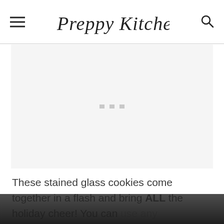Preppy Kitchen
[Figure (other): Advertisement placeholder area with three small gray dots in the center on a light gray background]
These stained glass cookies come together in a flash and bring ALL the holiday cheer! You can use any combination of cookie cutters to make them...